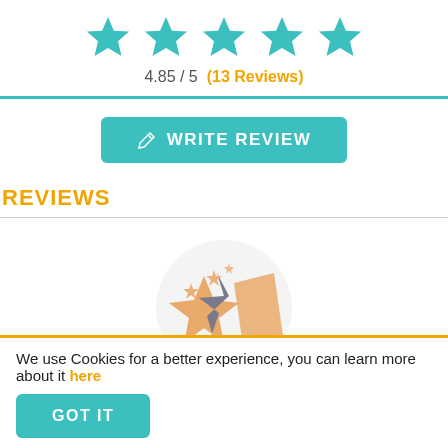[Figure (other): Five teal/turquoise star icons in a row indicating a rating display]
4.85 / 5   (13 Reviews)
[Figure (illustration): A circular illustration with orange and gray broken/cracked star shapes and small stars, representing a review or rating graphic]
REVIEWS
We use Cookies for a better experience, you can learn more about it here
GOT IT